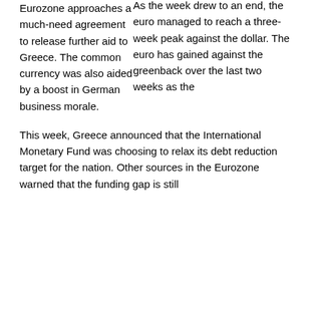As the week drew to an end, the euro managed to reach a three-week peak against the dollar. The euro has gained against the greenback over the last two weeks as the Eurozone approaches a much-need agreement to release further aid to Greece. The common currency was also aided by a boost in German business morale.
This week, Greece announced that the International Monetary Fund was choosing to relax its debt reduction target for the nation. Other sources in the Eurozone warned that the funding gap is still